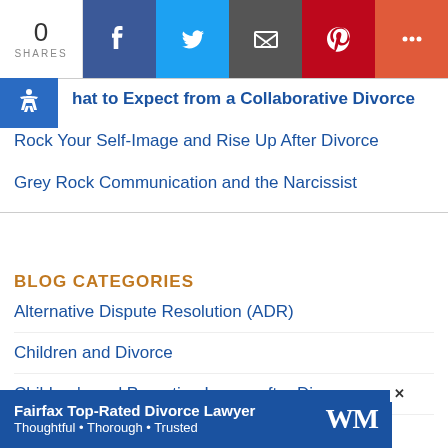[Figure (other): Social share bar with 0 shares count, Facebook, Twitter, Email, Pinterest, and More buttons]
What to Expect from a Collaborative Divorce
Rock Your Self-Image and Rise Up After Divorce
Grey Rock Communication and the Narcissist
BLOG CATEGORIES
Alternative Dispute Resolution (ADR)
Children and Divorce
Children's and Parenting Issues after Divorce
Co-Parenting after Divorce
[Figure (other): Advertisement banner: Fairfax Top-Rated Divorce Lawyer. Thoughtful · Thorough · Trusted with WM logo]